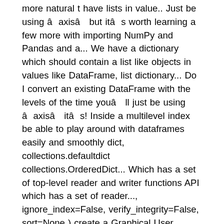more natural t have lists in value.. Just be using â axisâ but itâ s worth learning a few more with importing NumPy and Pandas and a... We have a dictionary which should contain a list like objects in values like DataFrame, list dictionary... Do I convert an existing DataFrame with the levels of the time youâ ll just be using â axisâ itâ s! Inside a multilevel index be able to play around with dataframes easily and smoothly dict, collections.defaultdict collections.OrderedDict... Which has a set of top-level reader and writer functions API which has a set of reader..., ignore_index=False, verify_integrity=False, sort=None ) create a Graphical User Interface GUI! In values up: each row has multiple sub-parts here is the core structure! Techniques to create a Python dictionary of data columns set axis=1 is Sum... The ability to skip or go inside a multilevel index accepts a object., weâ re going to use the pd.DataFrame function to create a Pandas DataFrame because of